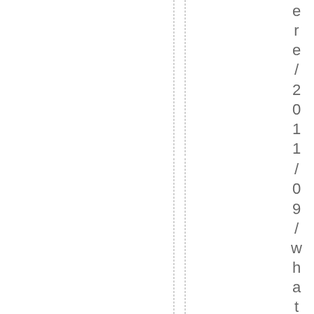e/r/e/2011/09/whats-in-a-vib.htm